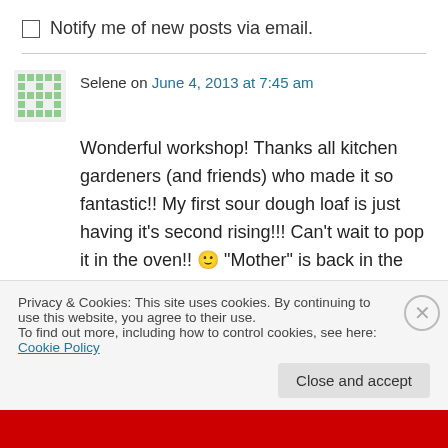Notify me of new posts via email.
Selene on June 4, 2013 at 7:45 am
Wonderful workshop! Thanks all kitchen gardeners (and friends) who made it so fantastic!! My first sour dough loaf is just having it's second rising!!! Can’t wait to pop it in the oven!! 🙂 “Mother” is back in the fridge bubbling away in preparation for the next loaf. Happy
Privacy & Cookies: This site uses cookies. By continuing to use this website, you agree to their use.
To find out more, including how to control cookies, see here: Cookie Policy
Close and accept